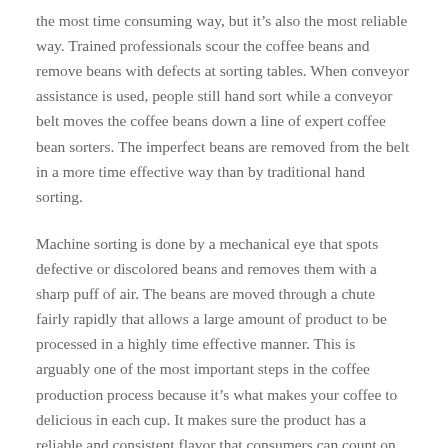the most time consuming way, but it's also the most reliable way. Trained professionals scour the coffee beans and remove beans with defects at sorting tables. When conveyor assistance is used, people still hand sort while a conveyor belt moves the coffee beans down a line of expert coffee bean sorters. The imperfect beans are removed from the belt in a more time effective way than by traditional hand sorting.
Machine sorting is done by a mechanical eye that spots defective or discolored beans and removes them with a sharp puff of air. The beans are moved through a chute fairly rapidly that allows a large amount of product to be processed in a highly time effective manner. This is arguably one of the most important steps in the coffee production process because it's what makes your coffee to delicious in each cup. It makes sure the product has a reliable and consistent flavor that consumers can count on and grow to expect. One the beans are sorted, they're ready to be transported.